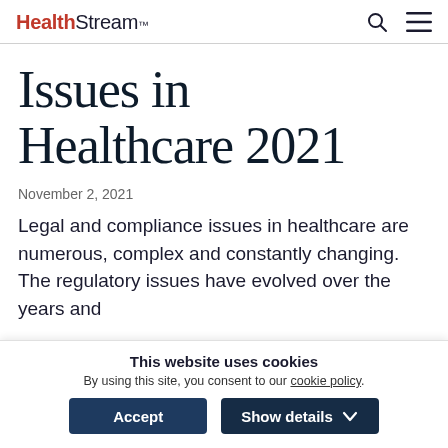HealthStream™
Issues in Healthcare 2021
November 2, 2021
Legal and compliance issues in healthcare are numerous, complex and constantly changing. The regulatory issues have evolved over the years and
This website uses cookies
By using this site, you consent to our cookie policy.
Accept   Show details